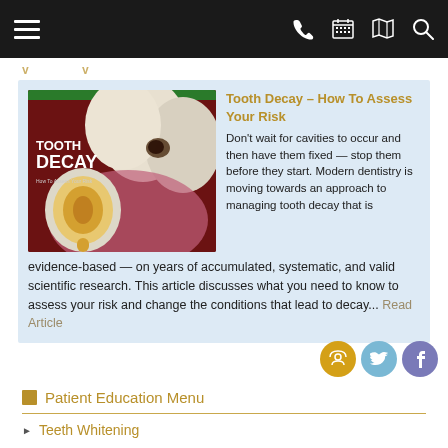Navigation bar with hamburger menu, phone, calendar, map, search icons
[Figure (illustration): Dental illustration showing tooth cross-section with decay, labeled 'TOOTH DECAY How To Assess Your Risk']
Tooth Decay – How To Assess Your Risk
Don't wait for cavities to occur and then have them fixed — stop them before they start. Modern dentistry is moving towards an approach to managing tooth decay that is evidence-based — on years of accumulated, systematic, and valid scientific research. This article discusses what you need to know to assess your risk and change the conditions that lead to decay... Read Article
Patient Education Menu
Teeth Whitening